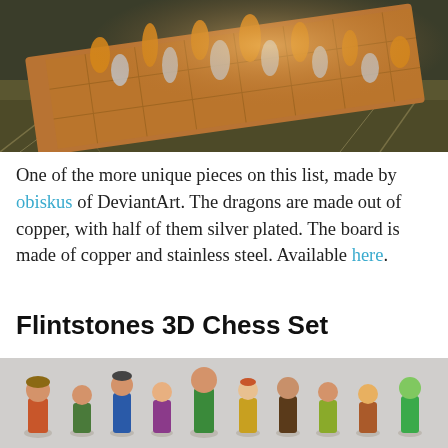[Figure (photo): A copper and silver dragon chess set on a copper and stainless steel board, photographed outdoors on dried grass. The chess pieces are ornate dragon figurines, half copper and half silver-plated.]
One of the more unique pieces on this list, made by obiskus of DeviantArt. The dragons are made out of copper, with half of them silver plated. The board is made of copper and stainless steel. Available here.
Flintstones 3D Chess Set
[Figure (photo): A Flintstones-themed 3D chess set featuring colorful figurines of Flintstones characters arranged as chess pieces on a white background.]